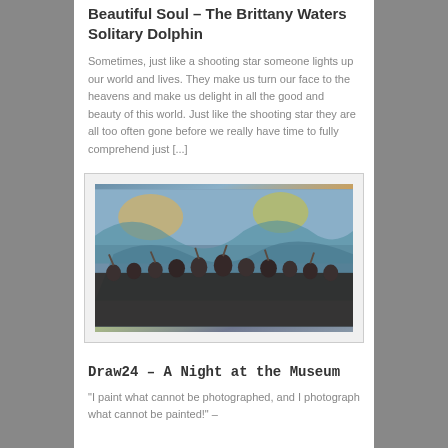Beautiful Soul – The Brittany Waters Solitary Dolphin
Sometimes, just like a shooting star someone lights up our world and lives. They make us turn our face to the heavens and make us delight in all the good and beauty of this world. Just like the shooting star they are all too often gone before we really have time to fully comprehend just [...]
[Figure (photo): Group photo of approximately 25 adults and children posing in front of a large colorful mural, many raising their hands.]
Draw24 – A Night at the Museum
"I paint what cannot be photographed, and I photograph what cannot be painted!" –